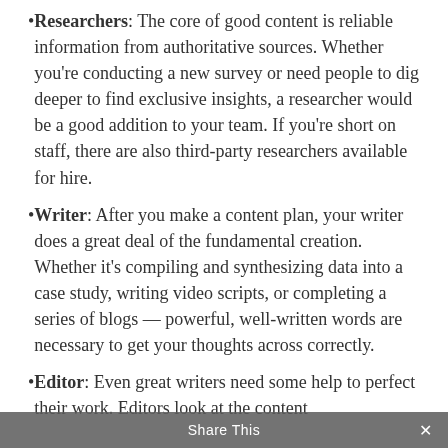Researchers: The core of good content is reliable information from authoritative sources. Whether you're conducting a new survey or need people to dig deeper to find exclusive insights, a researcher would be a good addition to your team. If you're short on staff, there are also third-party researchers available for hire.
Writer: After you make a content plan, your writer does a great deal of the fundamental creation. Whether it's compiling and synthesizing data into a case study, writing video scripts, or completing a series of blogs — powerful, well-written words are necessary to get your thoughts across correctly.
Editor: Even great writers need some help to perfect their work. Editors look at the content with fresh eyes and can assess...
Share This